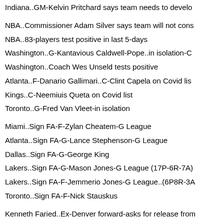Indiana..GM-Kelvin Pritchard says team needs to develo
NBA..Commissioner Adam Silver says team will not cons
NBA..83-players test positive in last 5-days
Washington..G-Kantavious Caldwell-Pope..in isolation-C
Washington..Coach Wes Unseld tests positive
Atlanta..F-Danario Gallimari..C-Clint Capela on Covid lis
Kings..C-Neemiuis Queta on Covid list
Toronto..G-Fred Van Vleet-in isolation
Miami..Sign FA-F-Zylan Cheatem-G League
Atlanta..Sign FA-G-Lance Stephenson-G League
Dallas..Sign FA-G-George King
Lakers..Sign FA-G-Mason Jones-G League (17P-6R-7A)
Lakers..Sign FA-F-Jemmerio Jones-G League..(6P8R-3A
Toronto..Sign FA-F-Nick Stauskus
Kenneth Faried..Ex-Denver forward-asks for release from
______
(College)
Aztecs-vs-UCSD...San Diego State (7-3) heading into W
USD-vs-UNLV...Both teams (7-5)
==========================================
...(Baseball)....